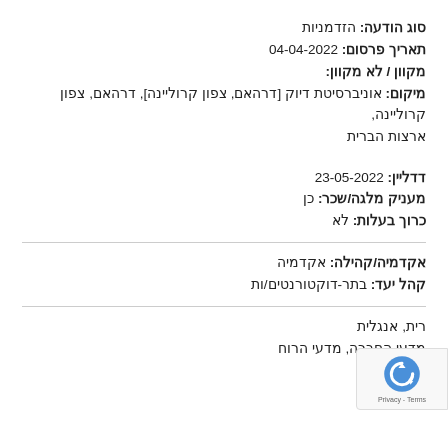סוג הודעה: הזדמניות
תאריך פרסום: 04-04-2022
מקוון / לא מקוון:
מיקום: אוניברסיטת דיוק [דרהאם, צפון קרוליינה], דרהאם, צפון קרוליינה, ארצות הברית
דדליין: 23-05-2022
מעניק מלגה/שכר: כן
כרוך בעלות: לא
אקדמיה/קהילה: אקדמיה
קהל יעד: בתר-דוקטורנטים/ות
רית, אנגלית
מדעי החברה, מדעי הרוח